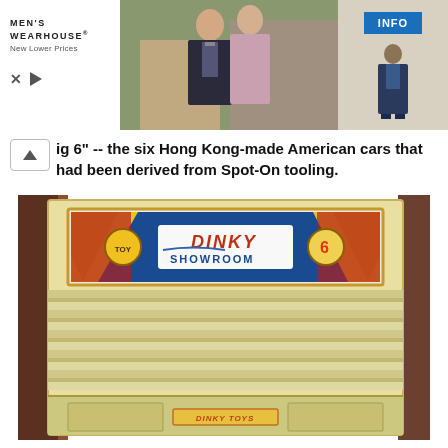[Figure (photo): Men's Wearhouse advertisement banner showing a couple in formal wear and a man in a suit, with INFO button]
fig 6" -- the six Hong Kong-made American cars that had been derived from Spot-On tooling.
[Figure (photo): Photograph of a cream/yellow Dinky Toys Showroom retail display unit with ridged shelves and a colorful 'DINKY SHOWROOM' banner sign at the top, and 'DINKY TOYS' label at the bottom]